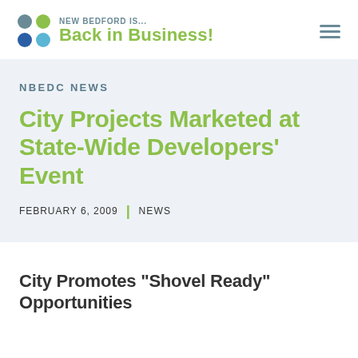NEW BEDFORD IS... Back in Business!
NBEDC NEWS
City Projects Marketed at State-Wide Developers' Event
FEBRUARY 6, 2009 | NEWS
City Promotes "Shovel Ready" Opportunities